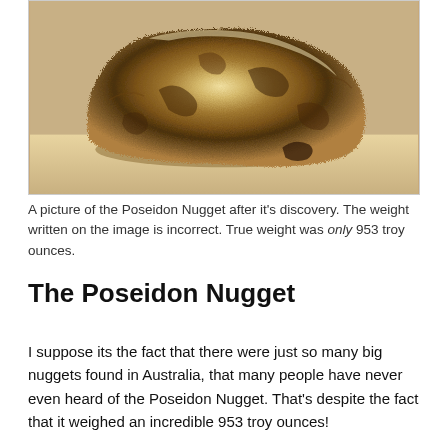[Figure (photo): A sepia-toned photograph of the Poseidon Nugget, a large rough gold nugget, resting on a light surface outdoors.]
A picture of the Poseidon Nugget after it's discovery. The weight written on the image is incorrect. True weight was only 953 troy ounces.
The Poseidon Nugget
I suppose its the fact that there were just so many big nuggets found in Australia, that many people have never even heard of the Poseidon Nugget. That's despite the fact that it weighed an incredible 953 troy ounces!